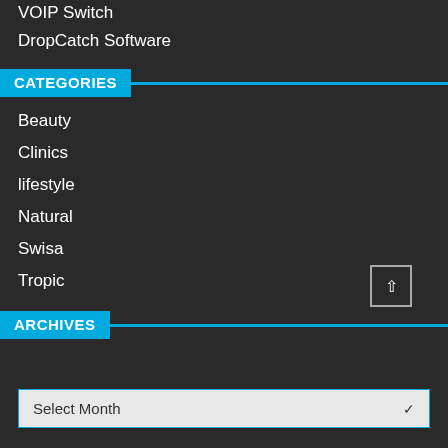VOIP Switch
DropCatch Software
CATEGORIES
Beauty
Clinics
lifestyle
Natural
Swisa
Tropic
ARCHIVES
Select Month